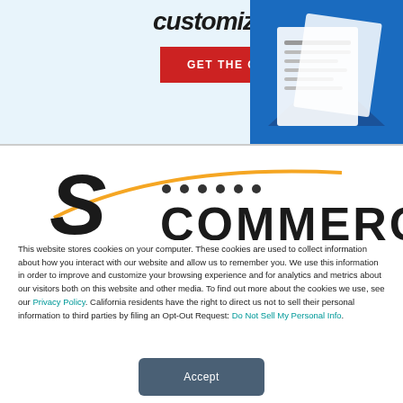[Figure (screenshot): Partial banner showing the word 'customize' in bold italic, a red 'GET THE GUIDE' button, and decorative document image on a light blue background]
[Figure (logo): SCommerce logo with orange swoosh and dots, partial text 'COMMERCE' visible]
This website stores cookies on your computer. These cookies are used to collect information about how you interact with our website and allow us to remember you. We use this information in order to improve and customize your browsing experience and for analytics and metrics about our visitors both on this website and other media. To find out more about the cookies we use, see our Privacy Policy. California residents have the right to direct us not to sell their personal information to third parties by filing an Opt-Out Request: Do Not Sell My Personal Info.
Accept